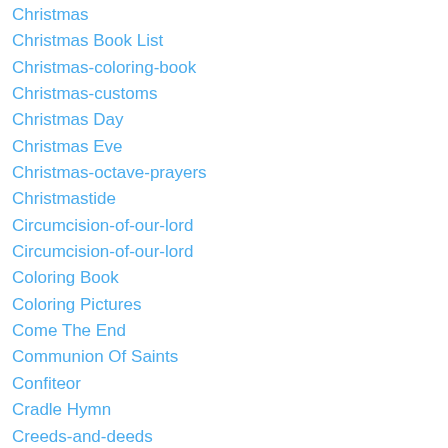Christmas
Christmas Book List
Christmas-coloring-book
Christmas-customs
Christmas Day
Christmas Eve
Christmas-octave-prayers
Christmastide
Circumcision-of-our-lord
Circumcision-of-our-lord
Coloring Book
Coloring Pictures
Come The End
Communion Of Saints
Confiteor
Cradle Hymn
Creeds-and-deeds
Crusaders-for-christ
Damien Of Molokai
Dangers Of The Day
Daughters Of Charity